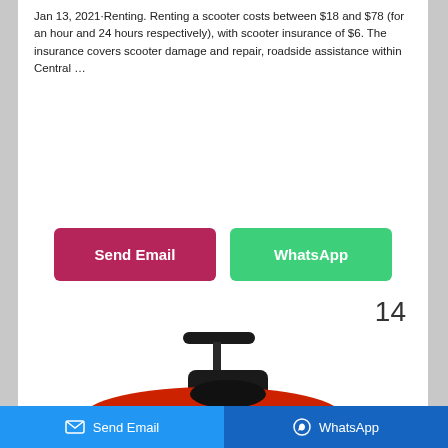Jan 13, 2021·Renting. Renting a scooter costs between $18 and $78 (for an hour and 24 hours respectively), with scooter insurance of $6. The insurance covers scooter damage and repair, roadside assistance within Central …
[Figure (other): Two call-to-action buttons: 'Send Email' (crimson/dark pink background) and 'WhatsApp' (green background), displayed side by side]
14
[Figure (photo): Red toy ride-on push car shaped like a luxury vehicle, with a black steering wheel handle on top and black seat, partially visible from the top]
Send Email   WhatsApp